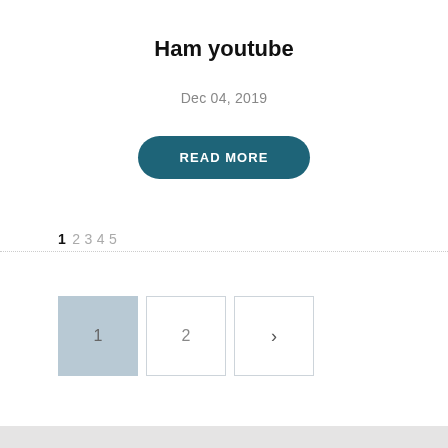Ham youtube
Dec 04, 2019
READ MORE
1 2 3 4 5
[Figure (other): Pagination buttons showing page 1 (active/highlighted), page 2, and a next arrow button]
[Figure (other): Footer image strip at the bottom of the page, light gray/stone texture]